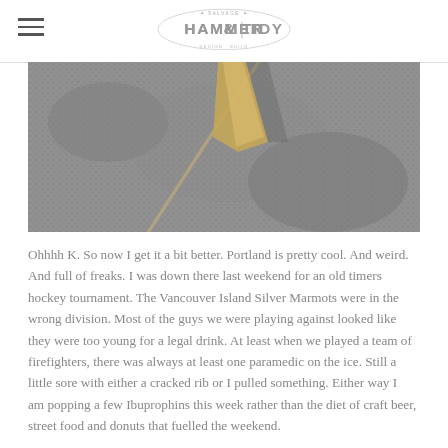Hammer & Tidy
[Figure (photo): Close-up photo of a wooden stake or wedge driven into a textured concrete or stone surface, with a diagonal crack or joint visible.]
Ohhhh K. So now I get it a bit better. Portland is pretty cool. And weird. And full of freaks. I was down there last weekend for an old timers hockey tournament. The Vancouver Island Silver Marmots were in the wrong division. Most of the guys we were playing against looked like they were too young for a legal drink. At least when we played a team of firefighters, there was always at least one paramedic on the ice. Still a little sore with either a cracked rib or I pulled something. Either way I am popping a few Ibuprophins this week rather than the diet of craft beer, street food and donuts that fuelled the weekend.